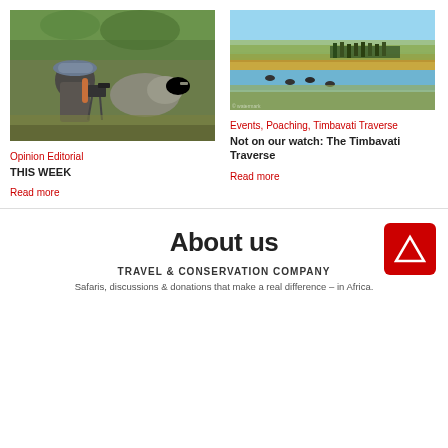[Figure (photo): Person with camera hat photographing a rhino in bushveld]
Opinion Editorial
THIS WEEK
Read more
[Figure (photo): Group of people watching wildlife at a waterhole in Timbavati]
Events, Poaching, Timbavati Traverse
Not on our watch: The Timbavati Traverse
Read more
About us
[Figure (logo): Red square logo with white triangle/arrow symbol]
TRAVEL & CONSERVATION COMPANY
Safaris, discussions & donations that make a real difference – in Africa.